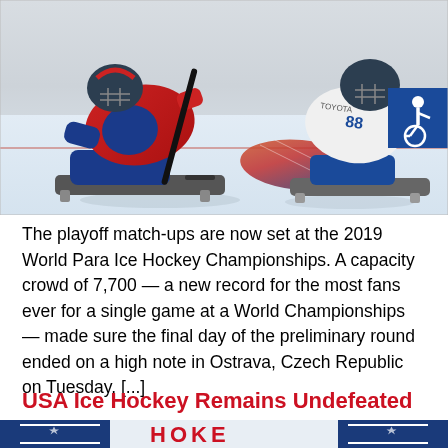[Figure (photo): Two sled hockey players on ice during the 2019 World Para Ice Hockey Championships. Player on left wears red and blue jersey, player on right wears white. Accessibility icon visible in top right corner.]
The playoff match-ups are now set at the 2019 World Para Ice Hockey Championships. A capacity crowd of 7,700 — a new record for the most fans ever for a single game at a World Championships — made sure the final day of the preliminary round ended on a high note in Ostrava, Czech Republic on Tuesday. [...]
USA Ice Hockey Remains Undefeated
[Figure (photo): Partial view of hockey banner/sign showing 'HOKE' text in red with decorative elements in blue and red.]